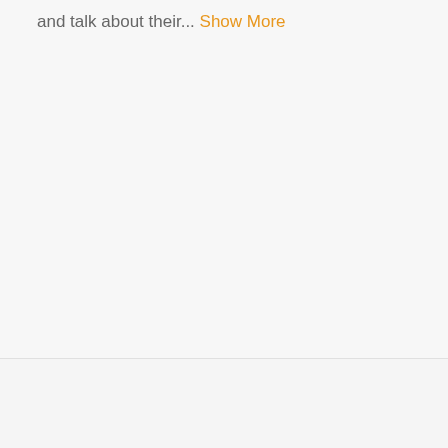and talk about their... Show More